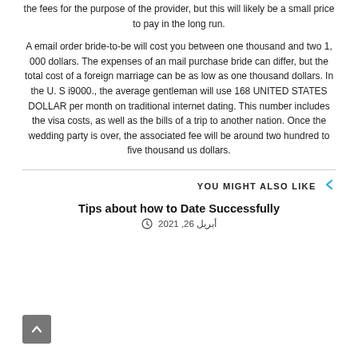the fees for the purpose of the provider, but this will likely be a small price to pay in the long run.
A email order bride-to-be will cost you between one thousand and two 1, 000 dollars. The expenses of an mail purchase bride can differ, but the total cost of a foreign marriage can be as low as one thousand dollars. In the U. S i9000., the average gentleman will use 168 UNITED STATES DOLLAR per month on traditional internet dating. This number includes the visa costs, as well as the bills of a trip to another nation. Once the wedding party is over, the associated fee will be around two hundred to five thousand us dollars.
YOU MIGHT ALSO LIKE
Tips about how to Date Successfully
أبريل 26, 2021